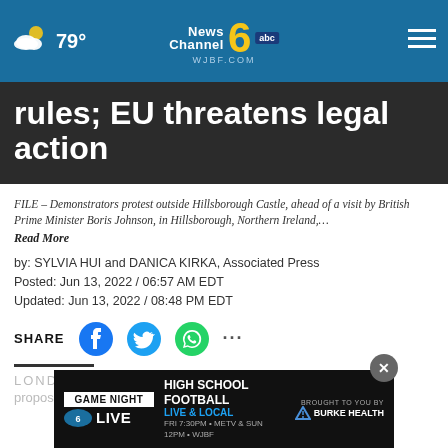79° News Channel 6 abc WJBF.COM
rules; EU threatens legal action
FILE – Demonstrators protest outside Hillsborough Castle, ahead of a visit by British Prime Minister Boris Johnson, in Hillsborough, Northern Ireland,…
Read More
by: SYLVIA HUI and DANICA KIRKA, Associated Press
Posted: Jun 13, 2022 / 06:57 AM EDT
Updated: Jun 13, 2022 / 08:48 PM EDT
SHARE
LONDON
proposed new legislation that would unilaterally
[Figure (screenshot): Game Night Live advertisement banner - HIGH SCHOOL FOOTBALL LIVE & LOCAL FRI 7:30PM • METV & SUN 12PM • WJBF BROUGHT TO YOU BY BURKE HEALTH]